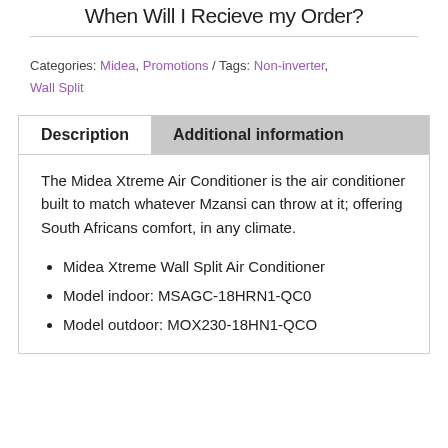When Will I Recieve my Order?
Categories: Midea, Promotions / Tags: Non-inverter, Wall Split
Description
Additional information
The Midea Xtreme Air Conditioner is the air conditioner built to match whatever Mzansi can throw at it; offering South Africans comfort, in any climate.
Midea Xtreme Wall Split Air Conditioner
Model indoor: MSAGC-18HRN1-QC0
Model outdoor: MOX230-18HN1-QCO